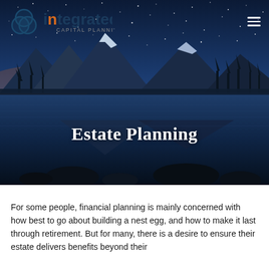[Figure (photo): Hero image of a mountain lake reflection under a starry night sky with blue twilight. Mountains and pine trees are silhouetted against the sky. Text overlay reads 'Estate Planning'.]
Estate Planning
For some people, financial planning is mainly concerned with how best to go about building a nest egg, and how to make it last through retirement. But for many, there is a desire to ensure their estate delivers benefits beyond their